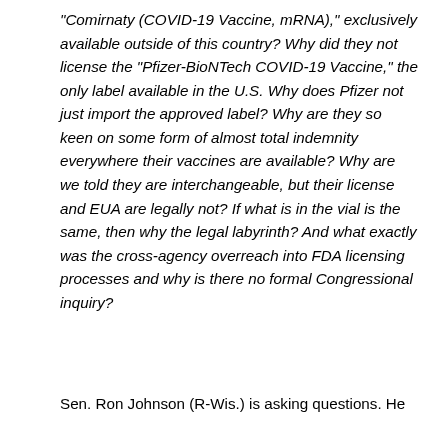“Comirnaty (COVID-19 Vaccine, mRNA),” exclusively available outside of this country? Why did they not license the “Pfizer-BioNTech COVID-19 Vaccine,” the only label available in the U.S. Why does Pfizer not just import the approved label? Why are they so keen on some form of almost total indemnity everywhere their vaccines are available? Why are we told they are interchangeable, but their license and EUA are legally not? If what is in the vial is the same, then why the legal labyrinth? And what exactly was the cross-agency overreach into FDA licensing processes and why is there no formal Congressional inquiry?
Sen. Ron Johnson (R-Wis.) is asking questions. He